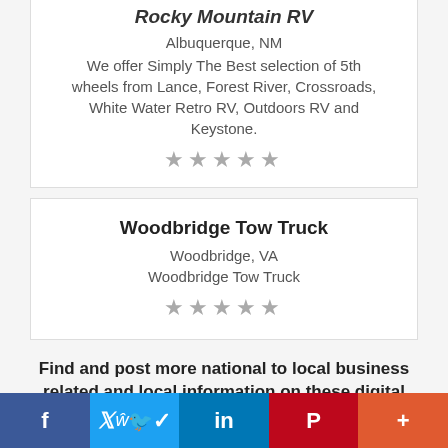Rocky Mountain RV
Albuquerque, NM
We offer Simply The Best selection of 5th wheels from Lance, Forest River, Crossroads, White Water Retro RV, Outdoors RV and Keystone.
★★★★★
Woodbridge Tow Truck
Woodbridge, VA
Woodbridge Tow Truck
★★★★★
Find and post more national to local business related and local information on these digital destinations!
f  Twitter  in  Pinterest  +